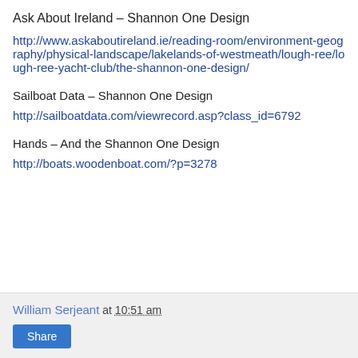Ask About Ireland – Shannon One Design
http://www.askaboutireland.ie/reading-room/environment-geography/physical-landscape/lakelands-of-westmeath/lough-ree/lough-ree-yacht-club/the-shannon-one-design/
Sailboat Data – Shannon One Design
http://sailboatdata.com/viewrecord.asp?class_id=6792
Hands – And the Shannon One Design
http://boats.woodenboat.com/?p=3278
William Serjeant at 10:51 am  Share